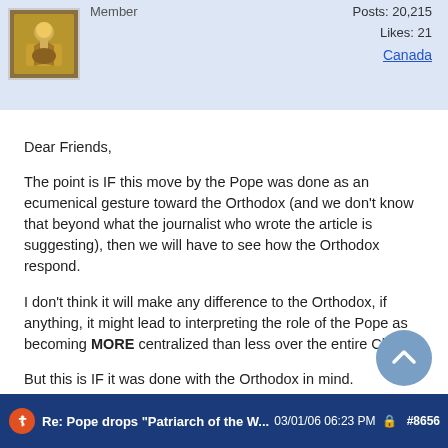Member | Posts: 20,215 | Likes: 21 | Canada
Dear Friends,

The point is IF this move by the Pope was done as an ecumenical gesture toward the Orthodox (and we don't know that beyond what the journalist who wrote the article is suggesting), then we will have to see how the Orthodox respond.

I don't think it will make any difference to the Orthodox, if anything, it might lead to interpreting the role of the Pope as becoming MORE centralized than less over the entire Church.

But this is IF it was done with the Orthodox in mind.

And IF it was, it is to be hoped that the bureaucrats at the Vatican consulted with the Orthodox beforehand.

Alex
Re: Pope drops "Patriarch of the W...   03/01/06 06:23 PM   #8656